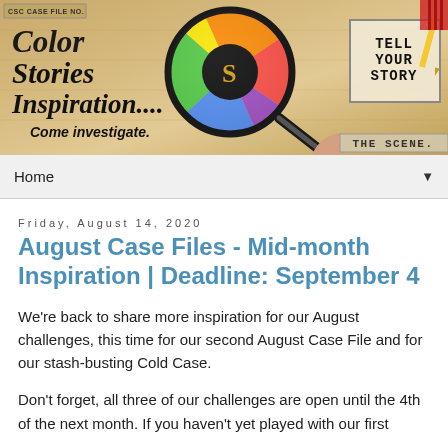[Figure (illustration): Blog banner for 'Color Stories Inspiration' with a magnifying glass showing a colorful wheel, tagline 'Come investigate.', 'Tell Your Story' stamp, and 'The Scene' label on aged paper background.]
Home ▼
Friday, August 14, 2020
August Case Files - Mid-month Inspiration | Deadline: September 4
We're back to share more inspiration for our August challenges, this time for our second August Case File and for our stash-busting Cold Case.
Don't forget, all three of our challenges are open until the 4th of the next month. If you haven't yet played with our first